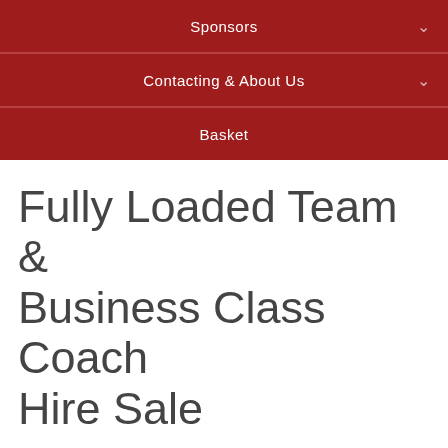Sponsors
Contacting & About Us
Basket
Fully Loaded Team & Business Class Coach Hire Sale
Fully Loaded Team & Business Class Coach Hire Sale with Go Goodwins.
Exceptional coaches used by the ECB. Sumptuous interiors, which are perfect for Corporate Hospitality.
Seating up to 46 depending on the layout, each vehicle